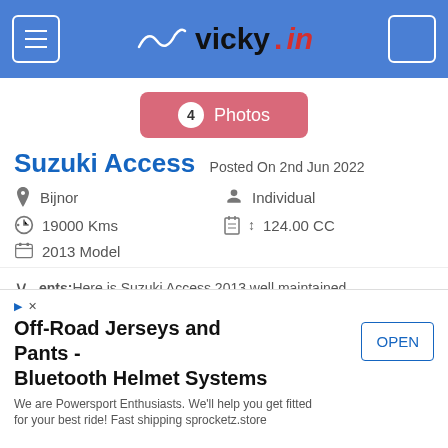vicky.in
[Figure (screenshot): Pink button with '4 Photos' label]
Suzuki Access Posted On 2nd Jun 2022
Bijnor
Individual
19000 Kms
124.00 CC
2013 Model
₹ 19,000
View Seller Details
ments:Here is Suzuki Access 2013 well maintained
Off-Road Jerseys and Pants - Bluetooth Helmet Systems
We are Powersport Enthusiasts. We'll help you get fitted for your best ride! Fast shipping sprocketz.store
OPEN